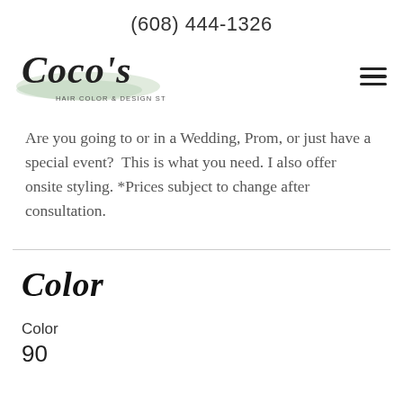(608) 444-1326
[Figure (logo): Coco's Hair Color & Design Studio logo with cursive script text and watercolor brush stroke]
Are you going to or in a Wedding, Prom, or just have a special event?  This is what you need. I also offer onsite styling. *Prices subject to change after consultation.
Color
Color
90